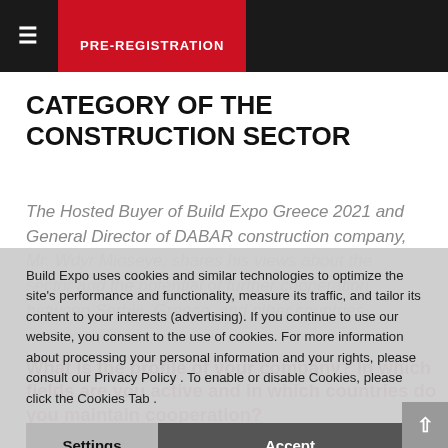≡  PRE-REGISTRATION
CATEGORY OF THE CONSTRUCTION SECTOR
The Hosted Buyer of Build Expo Greece 2021 and General Director of DABAR construction company, Mr. Wdyr Mioseye, shares his views about the sector and the potential of further cooperation between Serbia, Greece, and other countries
Build Expo uses cookies and similar technologies to optimize the site's performance and functionality, measure its traffic, and tailor its content to your interests (advertising). If you continue to use our website, you consent to the use of cookies. For more information about processing your personal information and your rights, please consult our Privacy Policy . To enable or disable Cookies, please click the Cookies Tab .
What is the profile of your company? In which fields are you active and in which countries do you maintain cooperation?
We are a construction company and we are